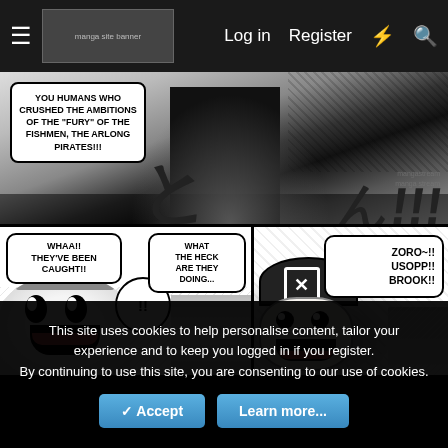Log in   Register
[Figure (illustration): Manga page screenshot from a website showing two panels: top panel with speech bubble reading 'YOU HUMANS WHO CRUSHED THE AMBITIONS OF THE "FURY" OF THE FISHMEN, THE ARLONG PIRATES!!!' with dramatic sound effects, and bottom panels showing characters with speech bubbles: 'WHAA!! THEY'VE BEEN CAUGHT!!', '!!', 'WHAT THE HECK ARE THEY DOING...', 'ZORO~!! USOPP!! BROOK!!']
This site uses cookies to help personalise content, tailor your experience and to keep you logged in if you register.
By continuing to use this site, you are consenting to our use of cookies.